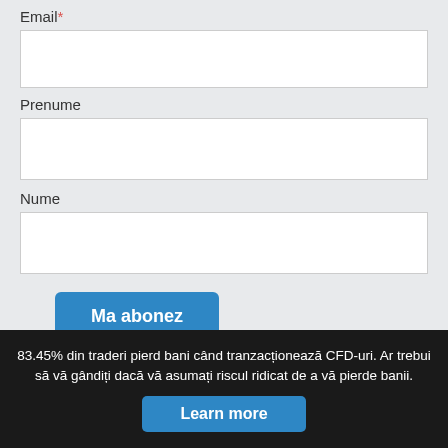Email*
Prenume
Nume
Ma abonez
Vezi politica de prelucrare a datelor cu caracter personal!
83.45% din traderi pierd bani când tranzacționează CFD-uri. Ar trebui să vă gândiți dacă vă asumați riscul ridicat de a vă pierde banii.
Learn more